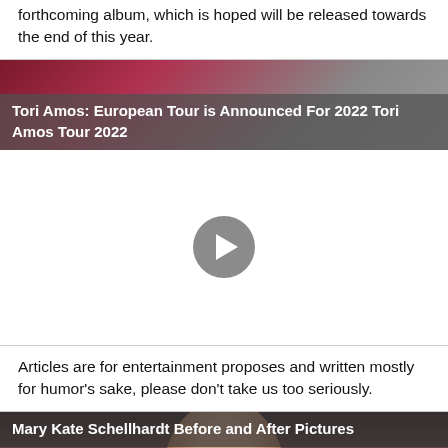forthcoming album, which is hoped will be released towards the end of this year.
[Figure (screenshot): Video thumbnail with title overlay: Tori Amos: European Tour is Announced For 2022 Tori Amos Tour 2022. Video has a play button in the center on a white background.]
Articles are for entertainment proposes and written mostly for humor's sake, please don't take us too seriously.
[Figure (photo): Thumbnail image of a woman with dark hair. Title overlay reads: Mary Kate Schellhardt Before and After Pictures]